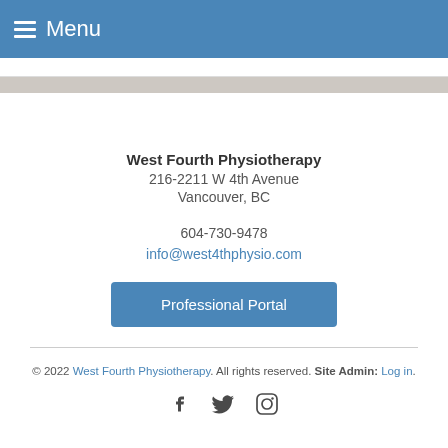Menu
West Fourth Physiotherapy
216-2211 W 4th Avenue
Vancouver, BC

604-730-9478
info@west4thphysio.com
Professional Portal
© 2022 West Fourth Physiotherapy. All rights reserved. Site Admin: Log in.